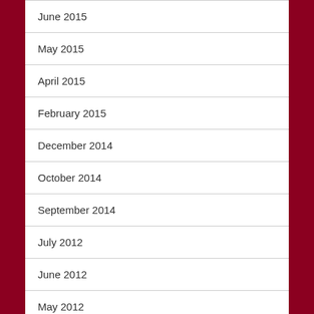June 2015
May 2015
April 2015
February 2015
December 2014
October 2014
September 2014
July 2012
June 2012
May 2012